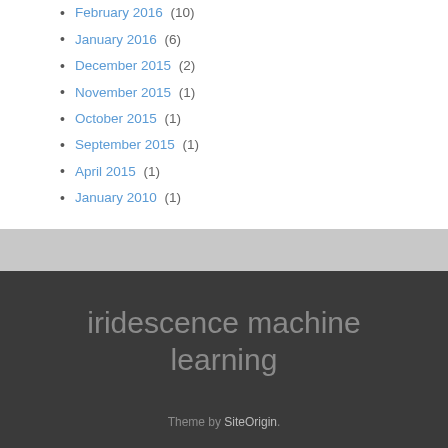February 2016 (10)
January 2016 (6)
December 2015 (2)
November 2015 (1)
October 2015 (1)
September 2015 (1)
April 2015 (1)
January 2010 (1)
iridescence machine learning
Theme by SiteOrigin.